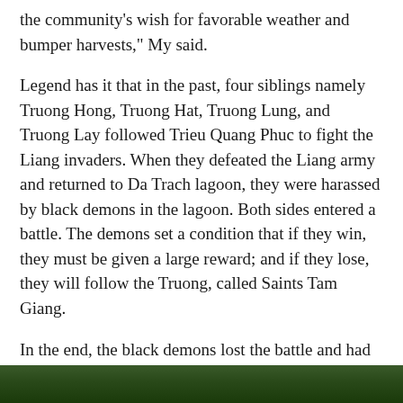the community's wish for favorable weather and bumper harvests," My said.
Legend has it that in the past, four siblings namely Truong Hong, Truong Hat, Truong Lung, and Truong Lay followed Trieu Quang Phuc to fight the Liang invaders. When they defeated the Liang army and returned to Da Trach lagoon, they were harassed by black demons in the lagoon. Both sides entered a battle. The demons set a condition that if they win, they must be given a large reward; and if they lose, they will follow the Truong, called Saints Tam Giang.
In the end, the black demons lost the battle and had to submit to Saints Tam Giang. Therefore, Van villagers opened a ball wrestling festival (also known as Khanh Ha festival) on the day of the saints' enthrallment, with the aim of celebrating the victory.
[Figure (photo): Dark green foliage/vegetation photo at the bottom of the page]